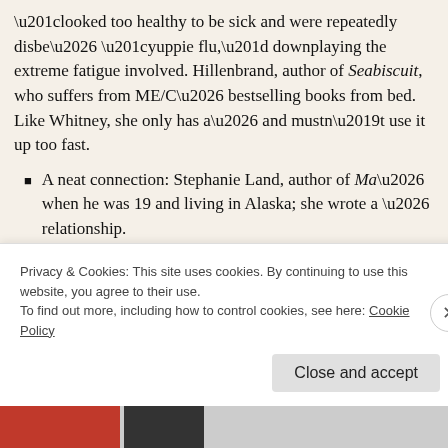“looked too healthy to be sick and were repeatedly disbe… “yuppie flu,” downplaying the extreme fatigue involved. Hillenbrand, author of Seabiscuit, who suffers from ME/C… bestselling books from bed. Like Whitney, she only has a… and mustn’t use it up too fast.
A neat connection: Stephanie Land, author of Ma… when he was 19 and living in Alaska; she wrote a … relationship.
The title is from a Flaming Lips lyric and expresse… ability to cure him; the U.S. title is The Puzzle Solve…
Privacy & Cookies: This site uses cookies. By continuing to use this website, you agree to their use.
To find out more, including how to control cookies, see here: Cookie Policy